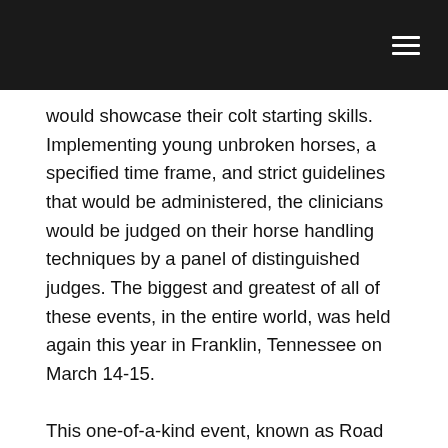would showcase their colt starting skills. Implementing young unbroken horses, a specified time frame, and strict guidelines that would be administered, the clinicians would be judged on their horse handling techniques by a panel of distinguished judges. The biggest and greatest of all of these events, in the entire world, was held again this year in Franklin, Tennessee on March 14-15.
This one-of-a-kind event, known as Road to the Horse, is the brain child of Steve and Tootie Bland. Previous Champions of this prestigious event are: Clinton Anderson, Stacy Westfall, and Chris Cox. It was a privilege and honor for me to have been invited to participate as a 2009 contestant. My fellow competitors were “Americas Most